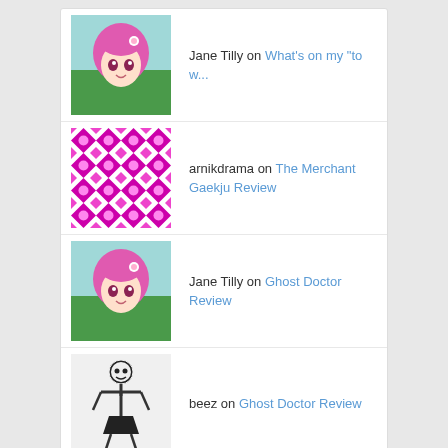Jane Tilly on What’s on my “to w...”
arnikdrama on The Merchant Gaekju Review
Jane Tilly on Ghost Doctor Review
beez on Ghost Doctor Review
beez on The Merchant Gaekju Review
Copyright